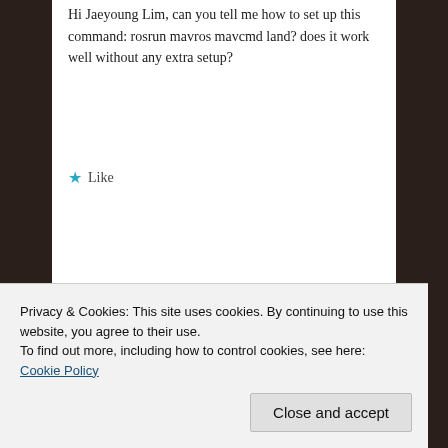Hi Jaeyoung Lim, can you tell me how to set up this command: rosrun mavros mavcmd land? does it work well without any extra setup?
★ Like
Jaeyoung Lim
September 26, 2016 at 5:17 am
If you have installed mavros, it will work
Privacy & Cookies: This site uses cookies. By continuing to use this website, you agree to their use.
To find out more, including how to control cookies, see here: Cookie Policy
Close and accept
August 22, 2016 at 11:06 am